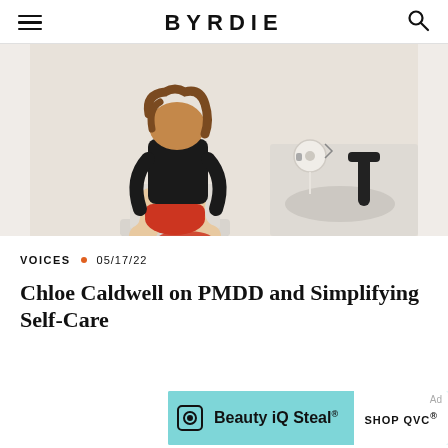BYRDIE
[Figure (photo): A person sitting on a toilet, holding a red hot water bottle, wearing a black top and red underwear/shorts, in a white bathroom with a black faucet and toilet paper roll visible.]
VOICES • 05/17/22
Chloe Caldwell on PMDD and Simplifying Self-Care
[Figure (other): Advertisement banner: Beauty iQ Steal® SHOP QVC®]